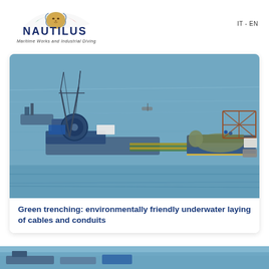[Figure (logo): Nautilus logo with lion illustration and Italian flag colors on wing-like shape, company name NAUTILUS in dark blue bold letters, tagline Maritime Works and Industrial Diving]
IT - EN
[Figure (photo): Aerial view of a large barge/work vessel on open water, with crane structures, equipment and connected platform sections extending horizontally, taken from above showing industrial maritime cable-laying or trenching operation]
Green trenching: environmentally friendly underwater laying of cables and conduits
[Figure (photo): Partial view of another maritime work scene at the bottom of the page, partially cropped]